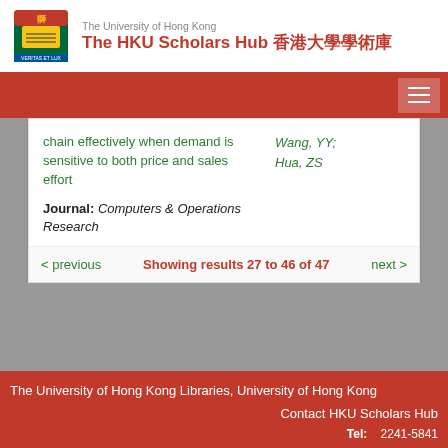[Figure (logo): University of Hong Kong crest logo]
The University of Hong Kong
The HKU Scholars Hub 香港大學學術庫
chain effectively when demand is sensitive to both price and sales effort
Wang, YY; Hua, ZS
Journal: Computers & Operations Research
< previous   Showing results 27 to 46 of 47   next >
The University of Hong Kong Libraries, University of Hong Kong
Contact HKU Scholars Hub
Tel: 2241-5841
Email: hub@lib.hku.hk